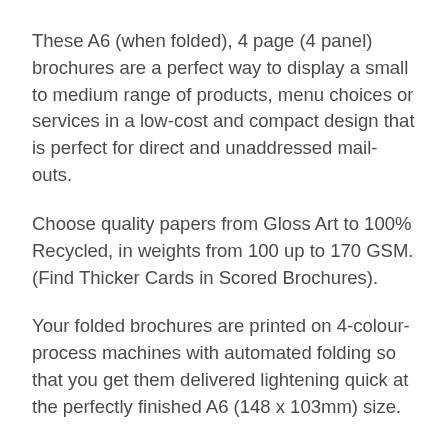These A6 (when folded), 4 page (4 panel) brochures are a perfect way to display a small to medium range of products, menu choices or services in a low-cost and compact design that is perfect for direct and unaddressed mail-outs.
Choose quality papers from Gloss Art to 100% Recycled, in weights from 100 up to 170 GSM. (Find Thicker Cards in Scored Brochures).
Your folded brochures are printed on 4-colour-process machines with automated folding so that you get them delivered lightening quick at the perfectly finished A6 (148 x 103mm) size.
If you want a custom size brochure in Robertson or you're looking for specialised folding, please ask for advice on design. We're here to assist th...